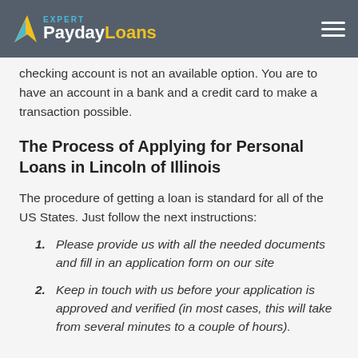Expert PaydayLoans
checking account is not an available option. You are to have an account in a bank and a credit card to make a transaction possible.
The Process of Applying for Personal Loans in Lincoln of Illinois
The procedure of getting a loan is standard for all of the US States. Just follow the next instructions:
Please provide us with all the needed documents and fill in an application form on our site
Keep in touch with us before your application is approved and verified (in most cases, this will take from several minutes to a couple of hours).